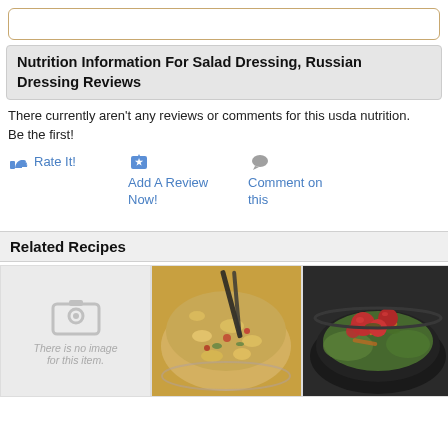Nutrition Information For Salad Dressing, Russian Dressing Reviews
There currently aren't any reviews or comments for this usda nutrition. Be the first!
Rate It!
Add A Review Now!
Comment on this
Related Recipes
[Figure (photo): No image placeholder for a recipe item]
[Figure (photo): Photo of macaroni salad with vegetables in a glass bowl]
[Figure (photo): Photo of a salad with tomatoes and greens in a dark bowl]